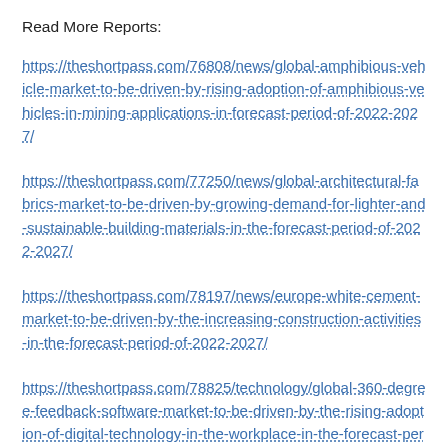Read More Reports:
https://theshortpass.com/76808/news/global-amphibious-vehicle-market-to-be-driven-by-rising-adoption-of-amphibious-vehicles-in-mining-applications-in-forecast-period-of-2022-2027/
https://theshortpass.com/77250/news/global-architectural-fabrics-market-to-be-driven-by-growing-demand-for-lighter-and-sustainable-building-materials-in-the-forecast-period-of-2022-2027/
https://theshortpass.com/78197/news/europe-white-cement-market-to-be-driven-by-the-increasing-construction-activities-in-the-forecast-period-of-2022-2027/
https://theshortpass.com/78825/technology/global-360-degree-feedback-software-market-to-be-driven-by-the-rising-adoption-of-digital-technology-in-the-workplace-in-the-forecast-period-of-2022-2027/